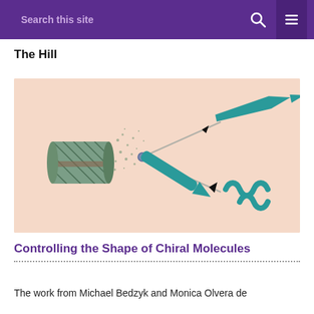Search this site
The Hill
[Figure (illustration): Scientific diagram on a peach/salmon background showing a chiral molecule beam splitter. On the left is a cylindrical hatched object (representing a nanostructure or molecular aggregate) emitting scattered dots. From it extends a beam-splitter mechanism — a small sphere at a pivot, with a teal/green elongated arrow pointing upper-right toward a flat teal beam-shape, and a lower path leading to a teal wavy/helical shape. Black arrowhead markers indicate beam directions.]
Controlling the Shape of Chiral Molecules
The work from Michael Bedzyk and Monica Olvera de